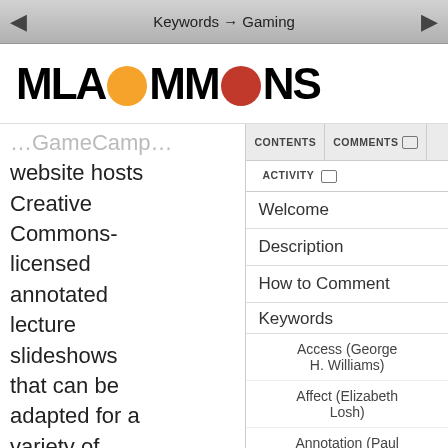Keywords → Gaming
[Figure (logo): MLA Commons logo with orange and red speech bubble circles replacing the O letters]
GameCamp… website hosts Creative Commons-licensed annotated lecture slideshows that can be adapted for a variety of classroom purposes, as well as printout files
CONTENTS
COMMENTS
ACTIVITY
Welcome
Description
How to Comment
Keywords
Access (George H. Williams)
Affect (Elizabeth Losh)
Annotation (Paul Schacht)
Archive (Lauren